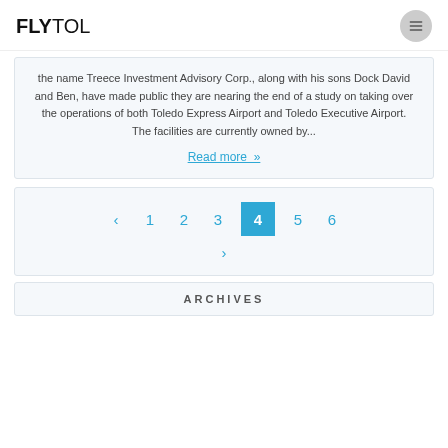FLYTOL
the name Treece Investment Advisory Corp., along with his sons Dock David and Ben, have made public they are nearing the end of a study on taking over the operations of both Toledo Express Airport and Toledo Executive Airport. The facilities are currently owned by...
Read more »
‹ 1 2 3 4 5 6 ›
ARCHIVES